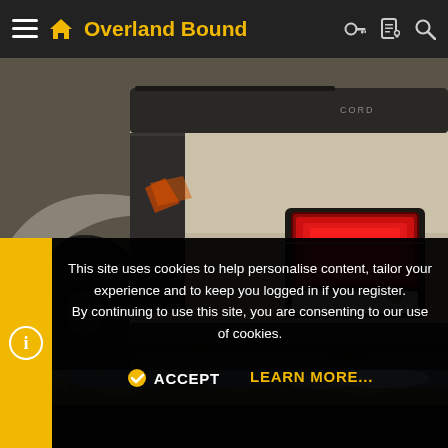Overland Bound
[Figure (photo): Close-up photograph of the rear corner of a tan/beige off-road vehicle (Jeep-style), showing the tail light assembly with red LED lighting and a spare tire mounted on the left. Rocky/dirt ground visible below.]
[Figure (photo): Partial thumbnail strip showing another outdoor/landscape photo below the main image.]
This site uses cookies to help personalise content, tailor your experience and to keep you logged in if you register.
By continuing to use this site, you are consenting to our use of cookies.
ACCEPT   LEARN MORE...